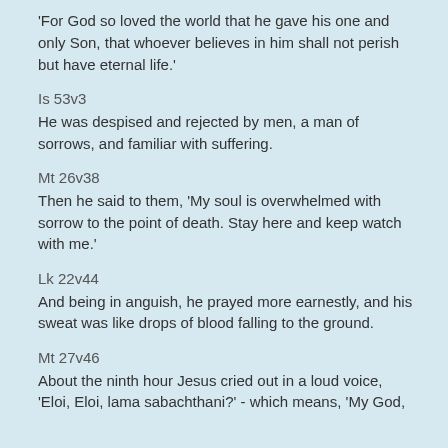'For God so loved the world that he gave his one and only Son, that whoever believes in him shall not perish but have eternal life.'
Is 53v3
He was despised and rejected by men, a man of sorrows, and familiar with suffering.
Mt 26v38
Then he said to them, 'My soul is overwhelmed with sorrow to the point of death. Stay here and keep watch with me.'
Lk 22v44
And being in anguish, he prayed more earnestly, and his sweat was like drops of blood falling to the ground.
Mt 27v46
About the ninth hour Jesus cried out in a loud voice, 'Eloi, Eloi, lama sabachthani?' - which means, 'My God,